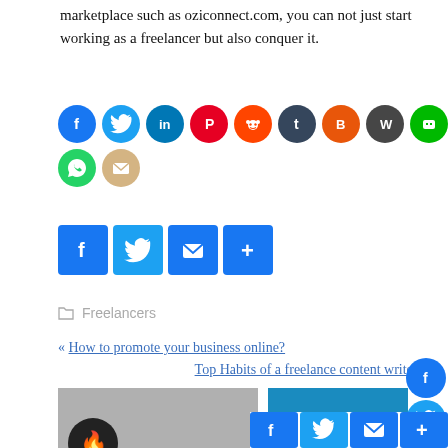marketplace such as oziconnect.com, you can not just start working as a freelancer but also conquer it.
[Figure (infographic): Row of social media share buttons as colored circles: Facebook (blue), Twitter (cyan), LinkedIn (blue), Pinterest (red), Reddit (orange), Tumblr (dark blue), Blogger (orange), WordPress (dark), Line (green), Buffer (black), WhatsApp (teal), Email (tan)]
[Figure (infographic): Row of square share buttons: Facebook, Twitter, Email, More/Share (all blue)]
Freelancers
« How to promote your business online?
Top Habits of a freelance content writer »
Related Posts
[Figure (infographic): Right sidebar with vertical stack of social media circle icons: Facebook, Twitter, LinkedIn, Pinterest, Reddit, WhatsApp, Email]
[Figure (infographic): Bottom share bar with Facebook, Twitter, Email, More square buttons]
[Figure (photo): Thumbnail of laptop on desk]
[Figure (photo): Thumbnail with blue background and partial share buttons visible]